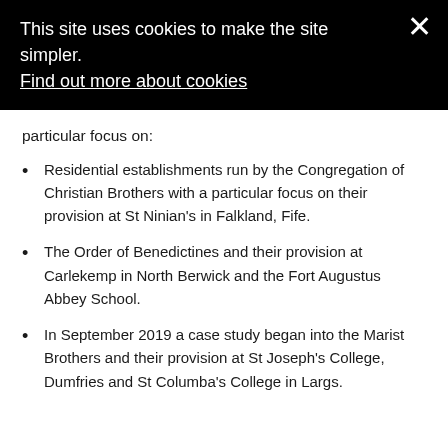This site uses cookies to make the site simpler. Find out more about cookies ×
particular focus on:
Residential establishments run by the Congregation of Christian Brothers with a particular focus on their provision at St Ninian's in Falkland, Fife.
The Order of Benedictines and their provision at Carlekemp in North Berwick and the Fort Augustus Abbey School.
In September 2019 a case study began into the Marist Brothers and their provision at St Joseph's College, Dumfries and St Columba's College in Largs.